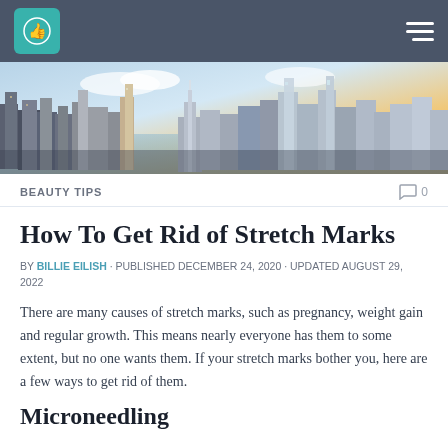Navigation bar with logo and hamburger menu
[Figure (photo): Aerial panoramic view of New York City skyline with skyscrapers at sunset]
BEAUTY TIPS   0
How To Get Rid of Stretch Marks
BY BILLIE EILISH · PUBLISHED DECEMBER 24, 2020 · UPDATED AUGUST 29, 2022
There are many causes of stretch marks, such as pregnancy, weight gain and regular growth. This means nearly everyone has them to some extent, but no one wants them. If your stretch marks bother you, here are a few ways to get rid of them.
Microneedling